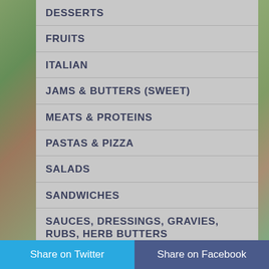DESSERTS
FRUITS
ITALIAN
JAMS & BUTTERS (SWEET)
MEATS & PROTEINS
PASTAS & PIZZA
SALADS
SANDWICHES
SAUCES, DRESSINGS, GRAVIES, RUBS, HERB BUTTERS & SEASONINGS
SLOW COOKER
SOUPS, STEWS & CHILIS
Share on Twitter | Share on Facebook